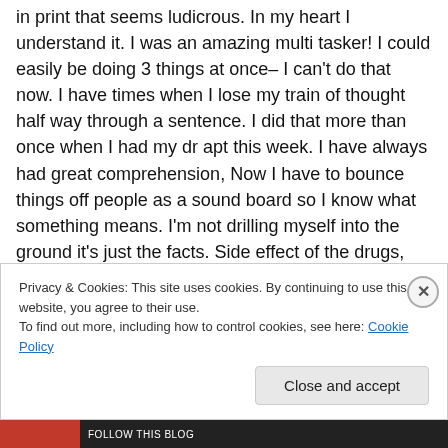in print that seems ludicrous. In my heart I understand it. I was an amazing multi tasker! I could easily be doing 3 things at once– I can't do that now. I have times when I lose my train of thought half way through a sentence. I did that more than once when I had my dr apt this week. I have always had great comprehension, Now I have to bounce things off people as a sound board so I know what something means. I'm not drilling myself into the ground it's just the facts. Side effect of the drugs, and that is a truth I haven't given much merit. The drugs push so much down, and have several side effects. I have taken them off
Privacy & Cookies: This site uses cookies. By continuing to use this website, you agree to their use.
To find out more, including how to control cookies, see here: Cookie Policy
Close and accept